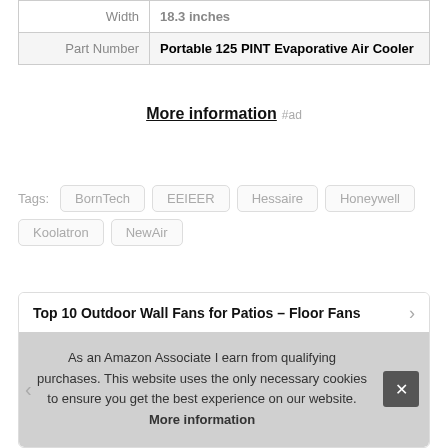| Width | 18.3 inches |
| Part Number | Portable 125 PINT Evaporative Air Cooler |
More information #ad
Tags: BornTech EEIEER Hessaire Honeywell Koolatron NewAir
Top 10 Outdoor Wall Fans for Patios – Floor Fans
As an Amazon Associate I earn from qualifying purchases. This website uses the only necessary cookies to ensure you get the best experience on our website. More information